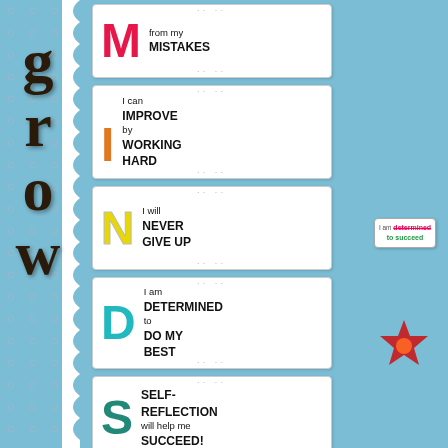[Figure (photo): Classroom bulletin board display with GROW mindset theme. Left side has dark brown letter cutouts spelling GROW vertically on a light blue background with decorative diamond pattern strip. Center column has 5 white cards each with a large colorful letter and affirmation text: M - from my MISTAKES, I - I can IMPROVE by WORKING HARD, N - I will NEVER GIVE UP, D - I am DETERMINED to DO MY BEST, S - SELF-REFLECTION will help me SUCCEED. Right side has a small white tag and a red star decoration.]